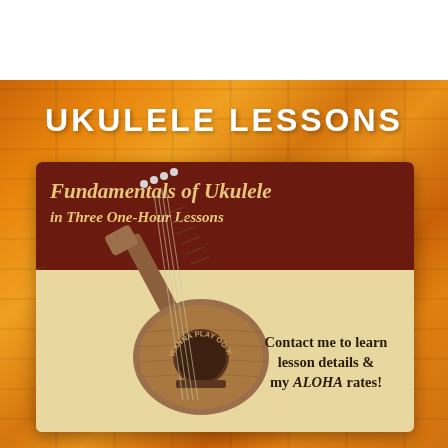UKULELE LESSONS
[Figure (illustration): A promotional flyer for ukulele lessons on a dark maroon and cream background. Shows a ukulele instrument with text 'WANNA PLAY OO-KOO-LEH-LEH?' on the sound hole. The flyer reads 'Fundamentals of Ukulele in Three One-Hour Lessons' at the top and 'Contact me to learn lesson details & my ALOHA rates!' at the bottom right.]